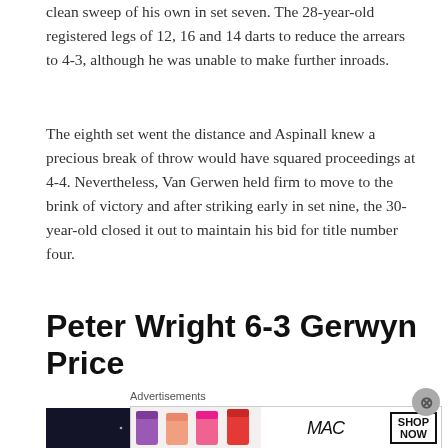clean sweep of his own in set seven. The 28-year-old registered legs of 12, 16 and 14 darts to reduce the arrears to 4-3, although he was unable to make further inroads.
The eighth set went the distance and Aspinall knew a precious break of throw would have squared proceedings at 4-4. Nevertheless, Van Gerwen held firm to move to the brink of victory and after striking early in set nine, the 30-year-old closed it out to maintain his bid for title number four.
Peter Wright 6-3 Gerwyn Price
[Figure (photo): Dark background with sparkle/bokeh light effects, appears to be a darts match photo]
Advertisements
[Figure (photo): MAC cosmetics advertisement showing lipsticks in purple, pink, and red colors with MAC logo and SHOP NOW button]